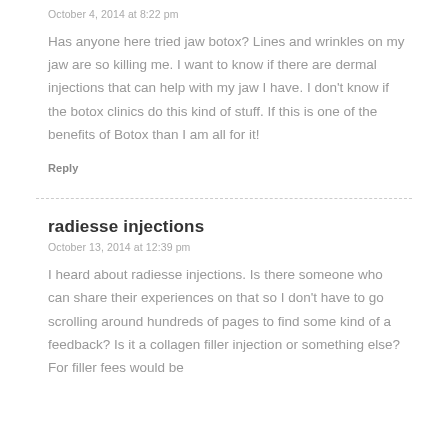October 4, 2014 at 8:22 pm
Has anyone here tried jaw botox? Lines and wrinkles on my jaw are so killing me. I want to know if there are dermal injections that can help with my jaw I have. I don't know if the botox clinics do this kind of stuff. If this is one of the benefits of Botox than I am all for it!
Reply
radiesse injections
October 13, 2014 at 12:39 pm
I heard about radiesse injections. Is there someone who can share their experiences on that so I don't have to go scrolling around hundreds of pages to find some kind of a feedback? Is it a collagen filler injection or something else? For filler fees would be